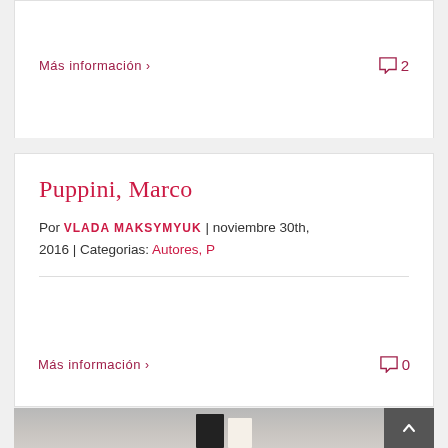Más información > 2
Puppini, Marco
Por VLADA MAKSYMYUK | noviembre 30th, 2016 | Categorias: Autores, P
Más información > 0
[Figure (photo): Photo of books/tablets displayed on a surface, partially visible at bottom of page with a back-to-top button]